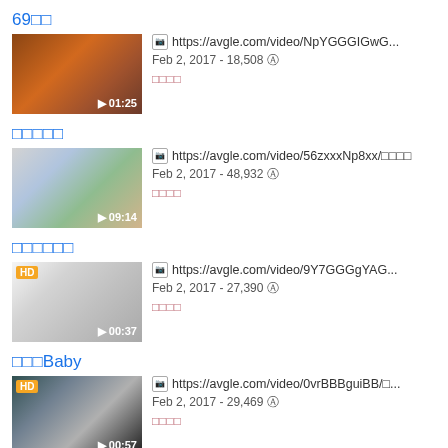69□□
[Figure (screenshot): Video thumbnail with dark warm tones, duration 01:25]
https://avgle.com/video/NpYGGGIGwG...
Feb 2, 2017 - 18,508 ⊙
□□□□
□□□□□
[Figure (screenshot): Video thumbnail with muted pastel tones, duration 09:14]
https://avgle.com/video/56zxxxNp8xx/□□□□
Feb 2, 2017 - 48,932 ⊙
□□□□
□□□□□□
[Figure (screenshot): HD video thumbnail showing person lying down, duration 00:37]
https://avgle.com/video/9Y7GGGgYAG...
Feb 2, 2017 - 27,390 ⊙
□□□□
□□□Baby
[Figure (screenshot): HD video thumbnail with dark tones, duration 00:57]
https://avgle.com/video/0vrBBBguiBB/□...
Feb 2, 2017 - 29,469 ⊙
□□□□